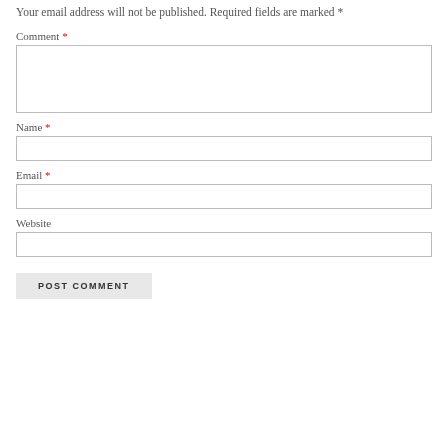Your email address will not be published. Required fields are marked *
Comment *
Name *
Email *
Website
POST COMMENT